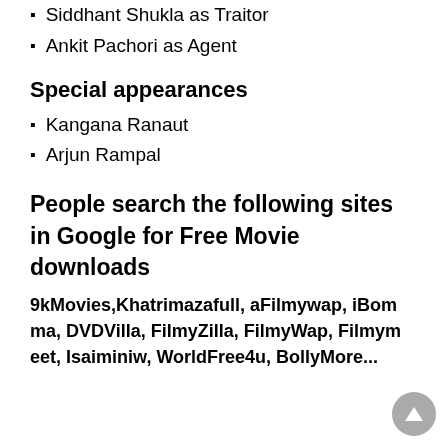Siddhant Shukla as Traitor
Ankit Pachori as Agent
Special appearances
Kangana Ranaut
Arjun Rampal
People search the following sites in Google for Free Movie downloads
9kMovies,Khatrimazafull, aFilmywap, iBomma, DVDVilla, FilmyZilla, FilmyWap, Filmymeet, Isaiminiw, WorldFree4u, BollyMore...